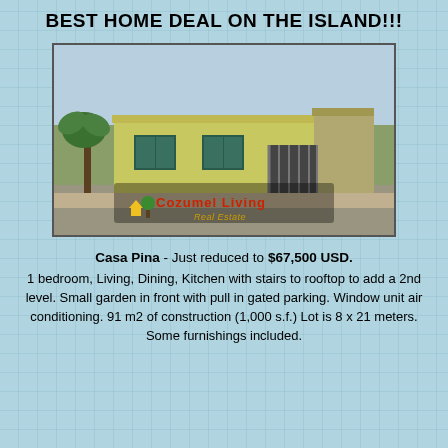BEST HOME DEAL ON THE ISLAND!!!
[Figure (photo): Exterior photo of Casa Pina, a single-story yellow house with a gated parking area and palm trees, with Cozumel Living Real Estate watermark overlay]
Casa Pina - Just reduced to $67,500 USD.
1 bedroom, Living, Dining, Kitchen with stairs to rooftop to add a 2nd level. Small garden in front with pull in gated parking. Window unit air conditioning. 91 m2 of construction (1,000 s.f.) Lot is 8 x 21 meters. Some furnishings included.